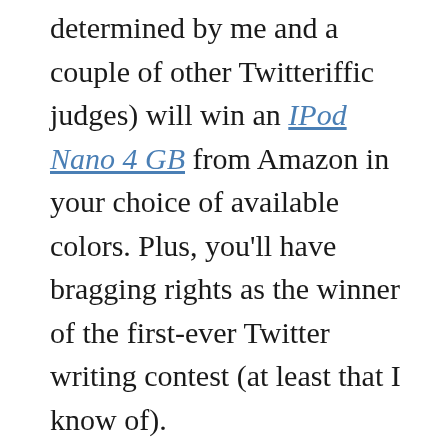determined by me and a couple of other Twitteriffic judges) will win an IPod Nano 4 GB from Amazon in your choice of available colors. Plus, you'll have bragging rights as the winner of the first-ever Twitter writing contest (at least that I know of).
Ready to play?
Just post a link to your Tweet (one per person, please) in the comments to this post before 5:00 PM CST on this Friday, May 23, 2008. That's all there is to it, but remember...
It's not 140 characters or less, it's exactly 140